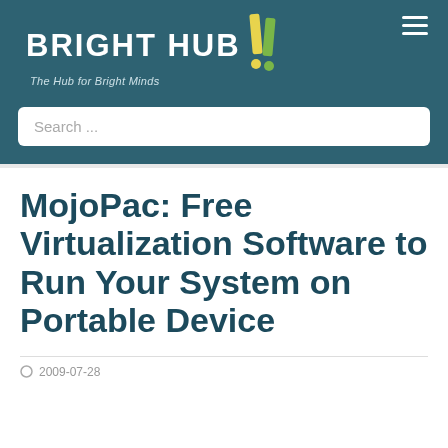[Figure (logo): Bright Hub logo with yellow/green exclamation mark icon and tagline 'The Hub for Bright Minds' on teal/dark background]
Search ...
MojoPac: Free Virtualization Software to Run Your System on Portable Device
2009-07-28